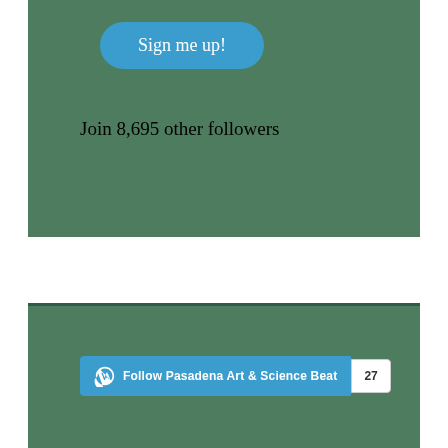[Figure (screenshot): Blue rounded-rectangle button labeled 'Sign me up!']
Join 8,695 other followers
[Figure (screenshot): WordPress Follow button: 'Follow Pasadena Art & Science Beat' with count badge showing 27]
Archives
[Figure (screenshot): Select Month dropdown widget]